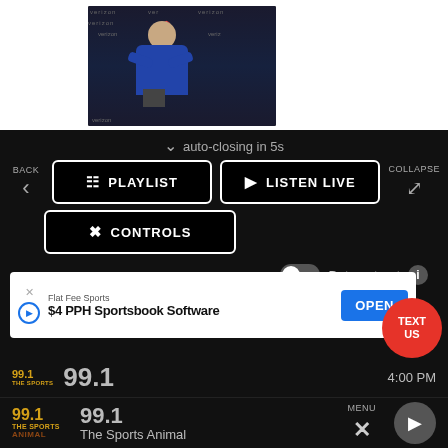[Figure (photo): Screenshot of a sports radio app showing a press conference photo of a man in a blue suit speaking at a podium with Verizon and Houston Texans branding, followed by a media player UI panel]
auto-closing in 5s
BACK
PLAYLIST
LISTEN LIVE
COLLAPSE
CONTROLS
Data opt-out
Flat Fee Sports
$4 PPH Sportsbook Software
OPEN
TEXT US
99.1
4:00 PM
99.1
The Sports Animal